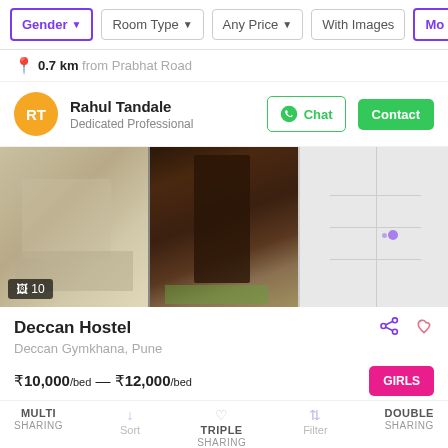[Figure (screenshot): Filter bar with Gender, Room Type, Any Price, With Images, and more filter buttons]
📍 0.7 km from Prabhat Road
RT — Rahul Tandale — Dedicated Professional — Chat — Contact
[Figure (photo): Gallery of hostel room photos and a map showing location. Photo count badge: 10]
Deccan Hostel — Deccan Gymkhana, Pune
₹10,000/bed — ₹12,000/bed — GIRLS
MULTI SHARING — Sort — TRIPLE SHARING — Filter — DOUBLE SHARING